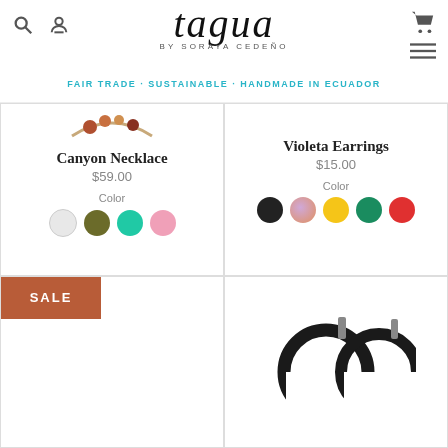[Figure (logo): Tagua by Soraya Cedeño logo with search, user, cart and menu icons]
FAIR TRADE - SUSTAINABLE - HANDMADE IN ECUADOR
[Figure (photo): Canyon Necklace product image - multi-colored beaded necklace]
Canyon Necklace
$59.00
Color
[Figure (other): Color swatches: white, olive/dark yellow, teal/cyan, pink]
Violeta Earrings
$15.00
Color
[Figure (other): Color swatches: black, lavender/orange, yellow, green, red/coral]
SALE
[Figure (photo): Black hoop earrings product image]